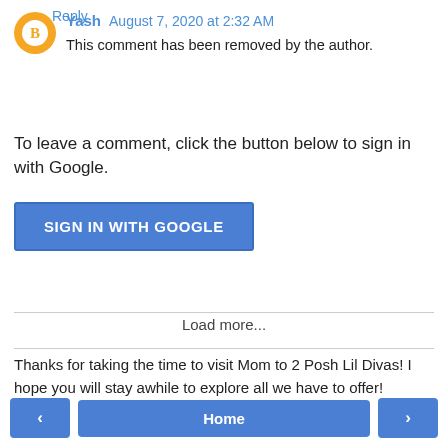Yash August 7, 2020 at 2:32 AM
This comment has been removed by the author.
Reply
To leave a comment, click the button below to sign in with Google.
[Figure (other): Blue 'SIGN IN WITH GOOGLE' button]
Load more...
Thanks for taking the time to visit Mom to 2 Posh Lil Divas! I hope you will stay awhile to explore all we have to offer!
[Figure (other): Navigation bar with left arrow, Home, and right arrow buttons]